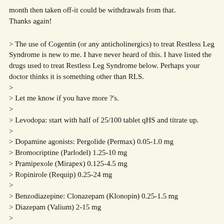month then taken off-it could be withdrawals from that.
Thanks again!
> The use of Cogentin (or any anticholinergics) to treat Restless Leg Syndrome is new to me. I have never heard of this. I have listed the drugs used to treat Restless Leg Syndrome below. Perhaps your doctor thinks it is something other than RLS.
>
> Let me know if you have more ?'s.
>
> Levodopa: start with half of 25/100 tablet qHS and titrate up.
>
> Dopamine agonists: Pergolide (Permax) 0.05-1.0 mg
> Bromocriptine (Parlodel) 1.25-10 mg
> Pramipexole (Mirapex) 0.125-4.5 mg
> Ropinirole (Requip) 0.25-24 mg
>
> Benzodiazepine: Clonazepam (Klonopin) 0.25-1.5 mg
> Diazepam (Valium) 2-15 mg
>
> Opioids: Propoxyphene (Darvocet) 50-200 mg